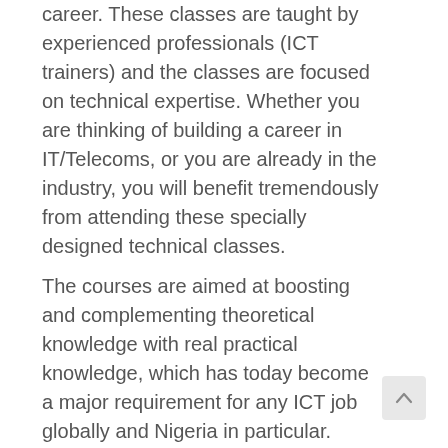career. These classes are taught by experienced professionals (ICT trainers) and the classes are focused on technical expertise. Whether you are thinking of building a career in IT/Telecoms, or you are already in the industry, you will benefit tremendously from attending these specially designed technical classes.
The courses are aimed at boosting and complementing theoretical knowledge with real practical knowledge, which has today become a major requirement for any ICT job globally and Nigeria in particular. Young fresh graduates are expected through this FREE program, to acquire the required skills necessary to start a career in the vibrant IT/Telecoms industry. Equally, technicians and those who intend to switch to IT/Telecoms